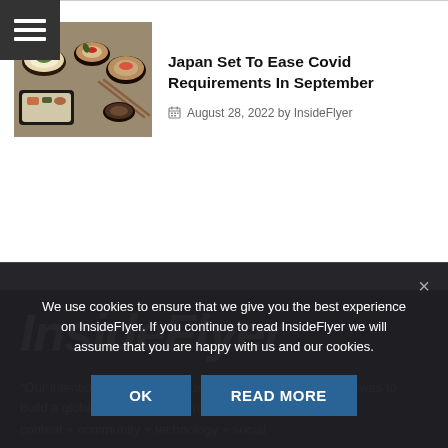[Figure (screenshot): Hamburger menu icon with three horizontal white lines on dark grey background]
[Figure (photo): Japanese food dishes on a dark table]
Japan Set To Ease Covid Requirements In September
August 28, 2022 by InsideFlyer
[Figure (logo): InsideFlyer logo in large white bold italic text on dark background]
“Our intention was never to launch a website, our intention was to build a global brand for frequent flyers.”
content + community + technology + social
We use cookies to ensure that we give you the best experience on InsideFlyer. If you continue to read InsideFlyer we will assume that you are happy with us and our cookies.